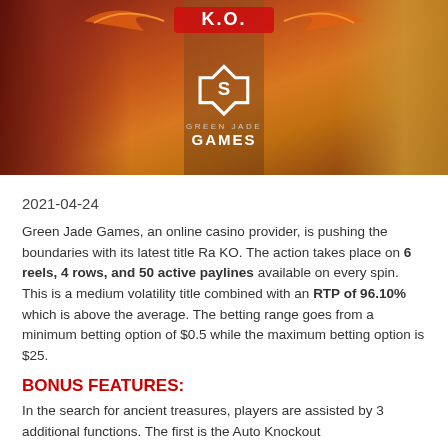[Figure (illustration): Ra KO game promotional banner with Green Jade Games logo on an orange-red background with ancient Egyptian themed characters on the sides]
2021-04-24
Green Jade Games, an online casino provider, is pushing the boundaries with its latest title Ra KO. The action takes place on 6 reels, 4 rows, and 50 active paylines available on every spin. This is a medium volatility title combined with an RTP of 96.10% which is above the average. The betting range goes from a minimum betting option of $0.5 while the maximum betting option is $25.
BONUS FEATURES:
In the search for ancient treasures, players are assisted by 3 additional functions. The first is the Auto Knockout